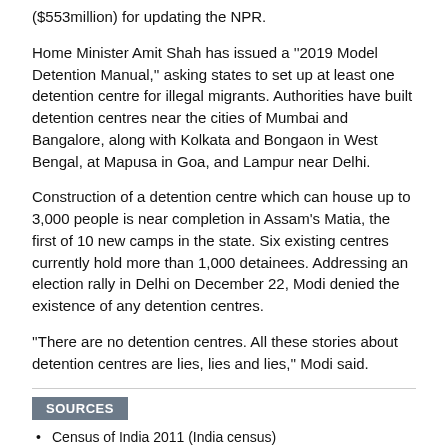($553million) for updating the NPR.
Home Minister Amit Shah has issued a "2019 Model Detention Manual," asking states to set up at least one detention centre for illegal migrants. Authorities have built detention centres near the cities of Mumbai and Bangalore, along with Kolkata and Bongaon in West Bengal, at Mapusa in Goa, and Lampur near Delhi.
Construction of a detention centre which can house up to 3,000 people is near completion in Assam's Matia, the first of 10 new camps in the state. Six existing centres currently hold more than 1,000 detainees. Addressing an election rally in Delhi on December 22, Modi denied the existence of any detention centres.
"There are no detention centres. All these stories about detention centres are lies, lies and lies," Modi said.
SOURCES
Census of India 2011 (India census)
Detention centre near Guwahati nears completion as PM Modi denies construction of any (India Today)
Indias Modi contradicts key aide on NRC in bid to douse protests (Al Jazeera)